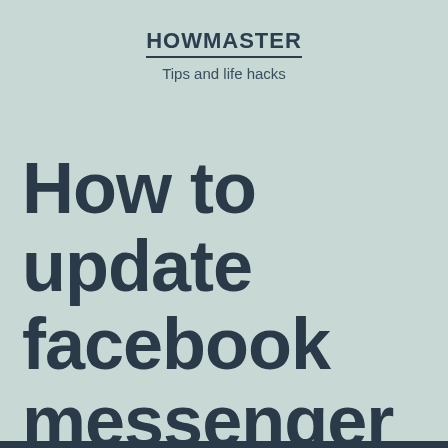HOWMASTER
Tips and life hacks
How to update facebook messenger